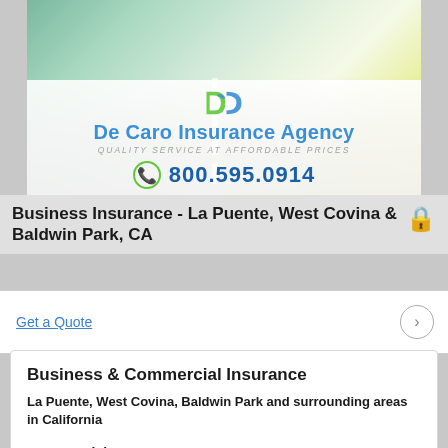[Figure (logo): De Caro Insurance Agency banner with logo, name, tagline, and phone number 800.595.0914]
Business Insurance - La Puente, West Covina & Baldwin Park, CA
Get a Quote
Business & Commercial Insurance
La Puente, West Covina, Baldwin Park and surrounding areas in California
Commercial Auto